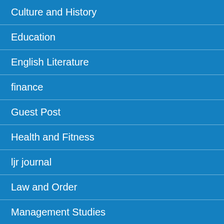Culture and History
Education
English Literature
finance
Guest Post
Health and Fitness
ljr journal
Law and Order
Management Studies
Marketing
News
Public Administration
Research R…